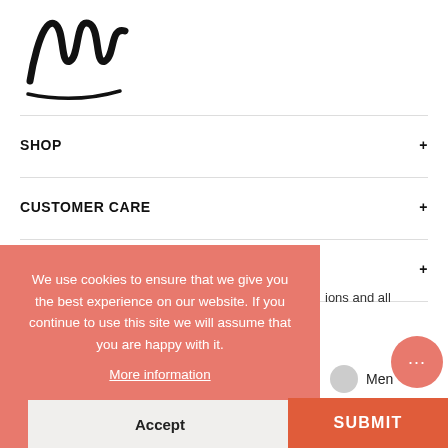[Figure (logo): Decorative script/calligraphy logo with curved strokes and underline flourish]
SHOP
CUSTOMER CARE
DISCOVER
We use cookies to ensure that we give you the best experience on our website. If you continue to use this site we will assume that you are happy with it.
More information
Accept
ions and all
Men
SUBMIT